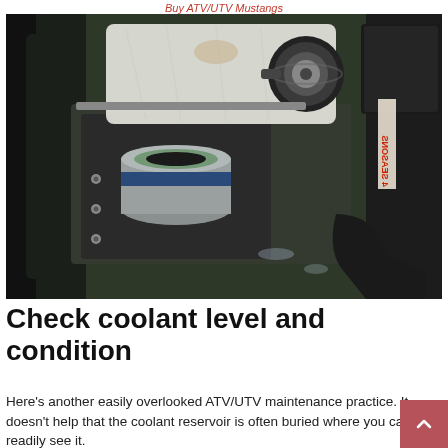Buy ATV/UTV Mustangs
[Figure (photo): Close-up photo of an ATV/UTV engine compartment showing a coolant reservoir with a cap and a cylindrical component, viewed from above. A white cloth/rag is visible near the coolant cap. A blue and white label reading '4 SEASONS' is partially visible in the background.]
Check coolant level and condition
Here's another easily overlooked ATV/UTV maintenance practice. It doesn't help that the coolant reservoir is often buried where you can't readily see it.